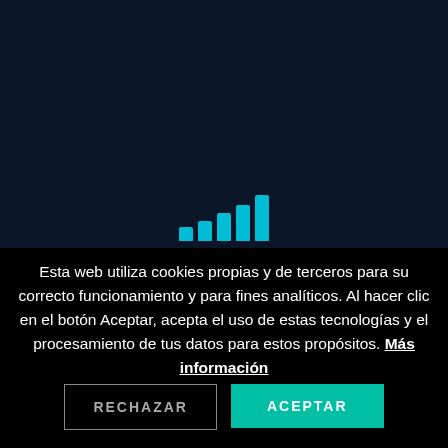[Figure (logo): Bar chart signal icon made of 5 ascending cyan/teal bars, used as a logo or loading indicator]
Esta web utiliza cookies propias y de terceros para su correcto funcionamiento y para fines analíticos. Al hacer clic en el botón Aceptar, acepta el uso de estas tecnologías y el procesamiento de tus datos para estos propósitos. Más información
RECHAZAR
ACEPTAR